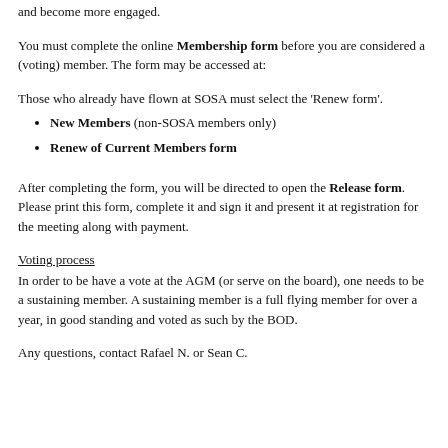and become more engaged.
You must complete the online Membership form before you are considered a (voting) member.  The form may be accessed at:
Those who already have flown at SOSA must select the 'Renew form'.
New Members (non-SOSA members only)
Renew of Current Members form
After completing the form, you will be directed to open the Release form. Please print this form, complete it and sign it and present it at registration for the meeting along with payment.
Voting process
In order to be have a vote at the AGM (or serve on the board), one needs to be a sustaining member. A sustaining member is a full flying member for over a year, in good standing and voted as such by the BOD.
Any questions, contact Rafael N. or Sean C.